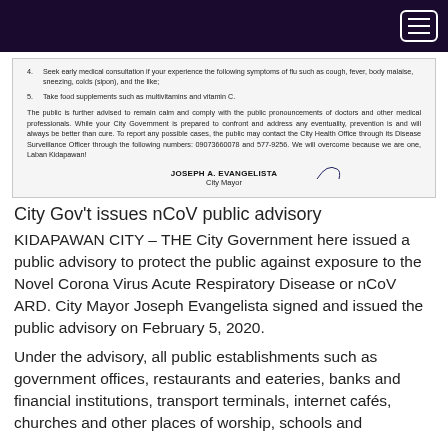[Navigation bar with hamburger menu]
[Figure (screenshot): Scanned document excerpt showing list items 4-5 and a paragraph signed by JOSEPH A. EVANGELISTA, City Mayor]
City Gov't issues nCoV public advisory
KIDAPAWAN CITY – THE City Government here issued a public advisory to protect the public against exposure to the Novel Corona Virus Acute Respiratory Disease or nCoV ARD. City Mayor Joseph Evangelista signed and issued the public advisory on February 5, 2020.
Under the advisory, all public establishments such as government offices, restaurants and eateries, banks and financial institutions, transport terminals, internet cafés, churches and other places of worship, schools and